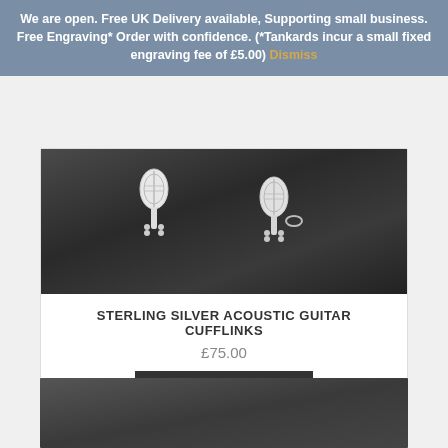We are open. Free UK Delivery available, Supporting small business. Free Engraving* Order with confidence. (*Tankards incur a small fixed engraving fee of £5.00) Dismiss
[Figure (photo): Close-up black and white photo of two sterling silver acoustic guitar cufflinks on a dark textured surface]
STERLING SILVER ACOUSTIC GUITAR CUFFLINKS
£75.00
BUY IT NOW
DETAILS
SHARE
[Figure (photo): Partial view of another product photo at the bottom of the page, dark textured surface]